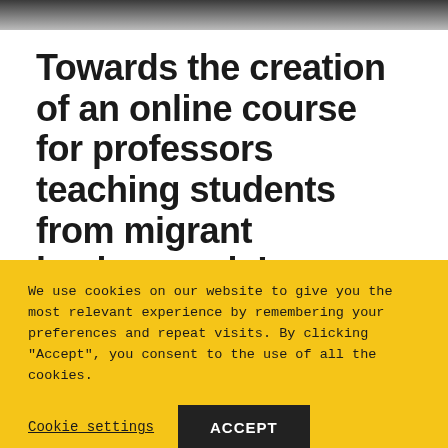[Figure (photo): Top portion of a photograph, showing a person from the shoulders up against a dark background]
Towards the creation of an online course for professors teaching students from migrant backgrounds!
[Figure (photo): Bottom portion of a photograph showing bare winter trees against a sky, with colored vertical banners/flags (blue and red)]
We use cookies on our website to give you the most relevant experience by remembering your preferences and repeat visits. By clicking "Accept", you consent to the use of all the cookies.
Cookie settings
ACCEPT